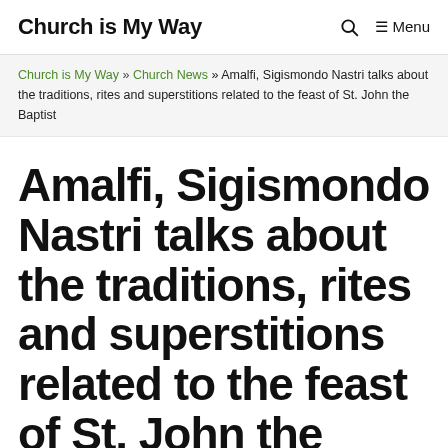Church is My Way   🔍  ☰ Menu
Church is My Way » Church News » Amalfi, Sigismondo Nastri talks about the traditions, rites and superstitions related to the feast of St. John the Baptist
Amalfi, Sigismondo Nastri talks about the traditions, rites and superstitions related to the feast of St. John the Baptist